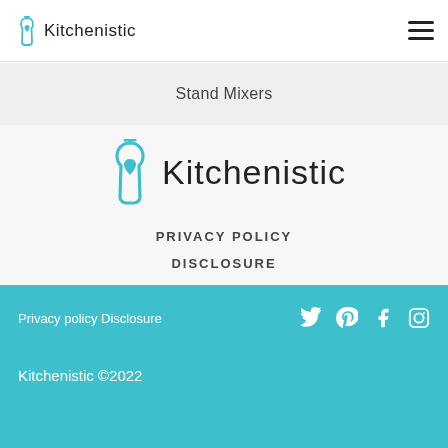Kitchenistic
Stand Mixers
[Figure (logo): Kitchenistic logo - baby bottle with heart icon in teal/cyan color followed by text 'Kitchenistic' in dark thin font]
PRIVACY POLICY
DISCLOSURE
Privacy policy Disclosure  Kitchenistic ©2022